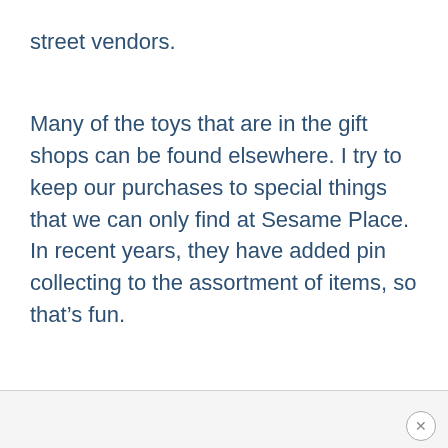street vendors.
Many of the toys that are in the gift shops can be found elsewhere. I try to keep our purchases to special things that we can only find at Sesame Place. In recent years, they have added pin collecting to the assortment of items, so that’s fun.